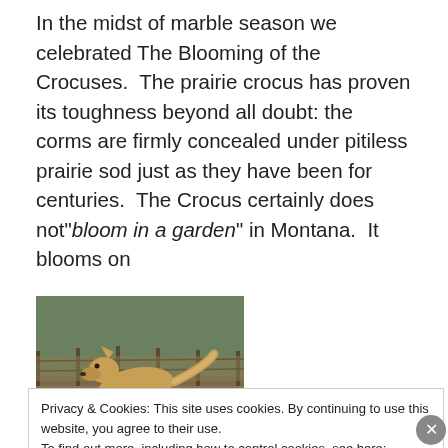In the midst of marble season we celebrated The Blooming of the Crocuses.  The prairie crocus has proven its toughness beyond all doubt: the corms are firmly concealed under pitiless prairie sod just as they have been for centuries.  The Crocus certainly does not"bloom in a garden" in Montana.  It blooms on
[Figure (photo): A coyote or similar canine animal walking on dry, rocky prairie ground. The animal is golden-brown in color. The background shows dry grass and a wooden fence.]
Privacy & Cookies: This site uses cookies. By continuing to use this website, you agree to their use.
To find out more, including how to control cookies, see here: Cookie Policy